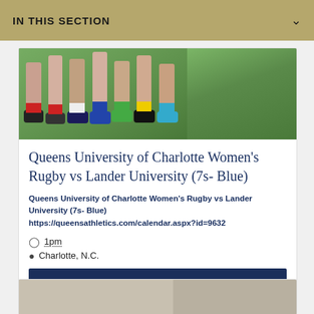IN THIS SECTION
[Figure (photo): Photo of rugby players' legs and feet on a grass field, wearing athletic shoes and socks in various colors]
Queens University of Charlotte Women's Rugby vs Lander University (7s- Blue)
Queens University of Charlotte Women's Rugby vs Lander University (7s- Blue) https://queensathletics.com/calendar.aspx?id=9632
1pm
Charlotte, N.C.
I'm Interested